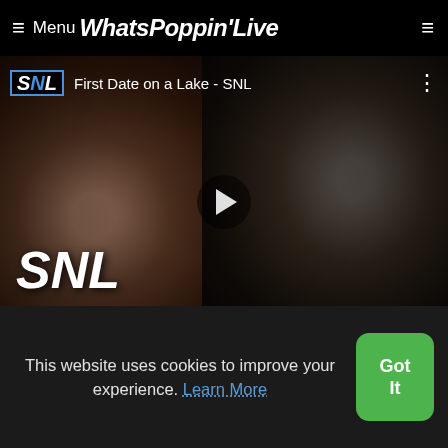≡ Menu WhatsPoppin'Live
[Figure (screenshot): Video thumbnail for 'First Date on a Lake - SNL' with SNL logo, play button, two people visible, and large SNL text overlay]
DAVE CHAPPELE: why black people hang out with whit
21 Savage "Don't Come Out the House" Parody
This website uses cookies to improve your experience. Learn More